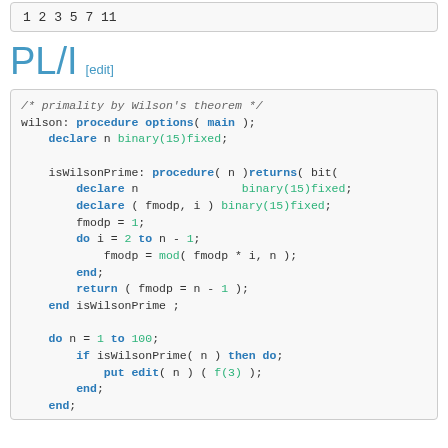1 2 3 5 7 11
PL/I [edit]
/* primality by Wilson's theorem */
wilson: procedure options( main );
    declare n binary(15)fixed;

    isWilsonPrime: procedure( n )returns( bit(
        declare n                binary(15)fixed;
        declare ( fmodp, i ) binary(15)fixed;
        fmodp = 1;
        do i = 2 to n - 1;
            fmodp = mod( fmodp * i, n );
        end;
        return ( fmodp = n - 1 );
    end isWilsonPrime ;

    do n = 1 to 100;
        if isWilsonPrime( n ) then do;
            put edit( n ) ( f(3) );
        end;
    end;